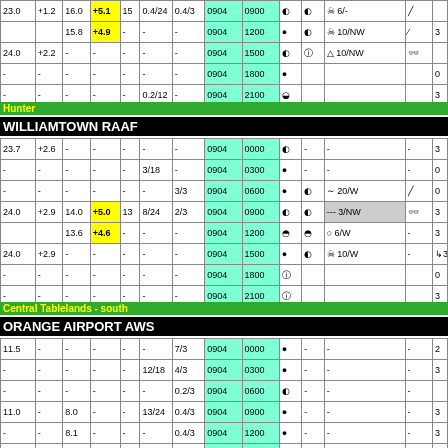| 23.0 | +1.2 | 16.0 | +5.1 | 15 | 0.4/24 | 0.4/3 | 0904 | 0900 | ●half | ●half | cloud 6/- | pencil |  |
|  |  | 15.8 | +4.9 | - | - | - | 0904 | 1200 | ●full | ●half | cloud 10/NW | pencil | 3 |
| 24.0 | +2.2 | - | - | - | - | - | 0904 | 1500 | ●half | ●full | cloud 10/NW | glasses |  |
| - | - | - | - | - | - | - | 0904 | 1800 | ●full |  |  |  | 0 |
| - | - | - | - | - | 0.2/12 | - | 0904 | 2100 | ●full |  |  |  | 3 |
Hunter
WILLIAMTOWN RAAF
| 23.7 | +2.6 | - | - | - | - | - | 0904 | 0000 | ●half | - | - | - | 3 |
| - | - | - | - | - | 3/18 | - | 0904 | 0300 | ●full | - | - | - | 0 |
| - | - | - | - | - | - | 3/3 | 0904 | 0600 | ●full | ●half | wave 20/W | pencil | 0 |
| 24.0 | +2.9 | 14.0 | +5.0 | 13 | 8/24 | 2/3 | 0904 | 0900 | ●half | ●half | --- 3/NW | glasses | 3 |
|  |  | 13.6 | +4.6 | - | - | - | 0904 | 1200 | ●3q | ●3q | cloud 6/W | - | 3 |
| 24.0 | +2.9 | - | - | - | - | - | 0904 | 1500 | ●full | ●half | cloud 10/W | -? | 3 |
| - | - | - | - | - | - | - | 0904 | 1800 | ●circ |  |  |  | 0 |
| - | - | - | - | - | - | - | 0904 | 2100 | ●circ |  |  |  | 3 |
Central Tablelands - south
ORANGE AIRPORT AWS
| 11.5 | - | - | - | - | - | 7/3 | 0904 | 0000 | ●full | - | - | - | 2 |
| - | - | - | - | - | 12/18 | 4/3 | 0904 | 0300 | ●full | - | - | - | 3 |
| - | - | - | - | - | - | 0.2/3 | 0904 | 0600 | ●half | - | - | - |  |
| 11.0 | - | 8.0 | - | - | 13/24 | 0.4/3 | 0904 | 0900 | ●full | - | - | - | 3 |
| - | - | 8.1 | - | - | - | 0.4/3 | 0904 | 1200 | ●full | - | - | - | 3 |
| 15.0 | - | - | - | - | 1/6 | 0.8/3 | 0904 | 1500 | ●full | - | - | - | 3 |
| - | - | - | - | - | - | 1/3 | 0904 | 1800 | ●circ | - | - | - | 3 |
| - | - | - | - | - | 3/12 | 1/3 | 0904 | 2100 | ●full | - | - | - |  |